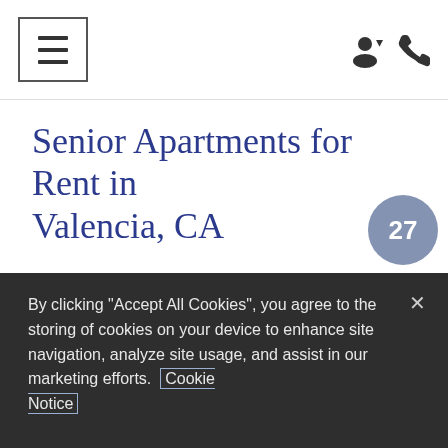Navigation header with hamburger menu, user icon, and phone icon
Senior Apartments for Rent in Valencia, CA
The journey begins inside the one and two-bedroom senior homes. Enter the gourmet kitchen and think about the delicious food you'll prepare. It is equipped with stainless-steel appliances, white cabinetry, and wood-st...
By clicking "Accept All Cookies", you agree to the storing of cookies on your device to enhance site navigation, analyze site usage, and assist in our marketing efforts. Cookie Notice